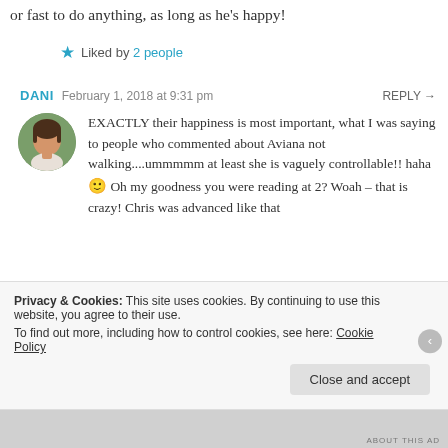or fast to do anything, as long as he's happy!
★ Liked by 2 people
DANI  February 1, 2018 at 9:31 pm  REPLY →
EXACTLY their happiness is most important, what I was saying to people who commented about Aviana not walking....ummmmm at least she is vaguely controllable!! haha 🙂 Oh my goodness you were reading at 2? Woah – that is crazy! Chris was advanced like that
Privacy & Cookies: This site uses cookies. By continuing to use this website, you agree to their use. To find out more, including how to control cookies, see here: Cookie Policy
Close and accept